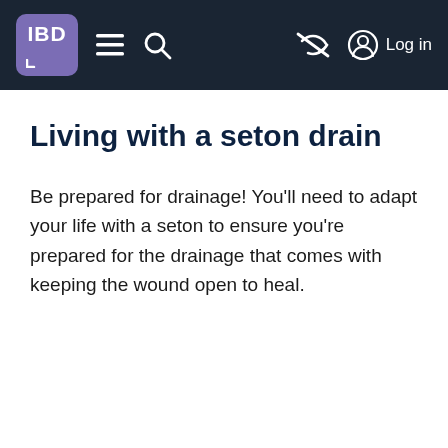IBD — navigation bar with hamburger menu, search, eye-off icon, and Log in
Living with a seton drain
Be prepared for drainage! You'll need to adapt your life with a seton to ensure you're prepared for the drainage that comes with keeping the wound open to heal.